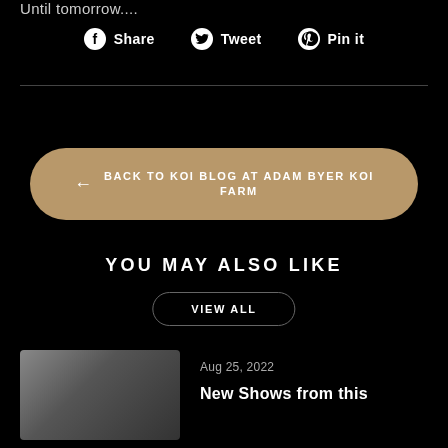Until tomorrow....
Share  Tweet  Pin it
BACK TO KOI BLOG AT ADAM BYER KOI FARM
YOU MAY ALSO LIKE
VIEW ALL
Aug 25, 2022
New Shows from this